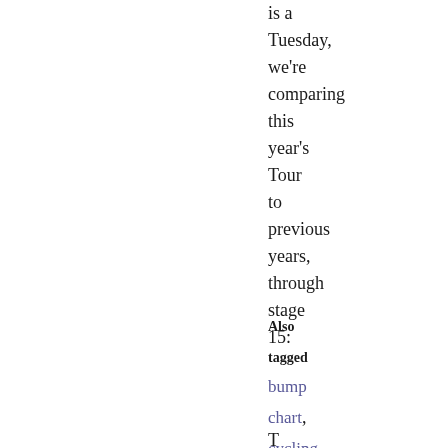is a Tuesday, we're comparing this year's Tour to previous years, through stage 15:
Also tagged bump chart, cycling, tour de france